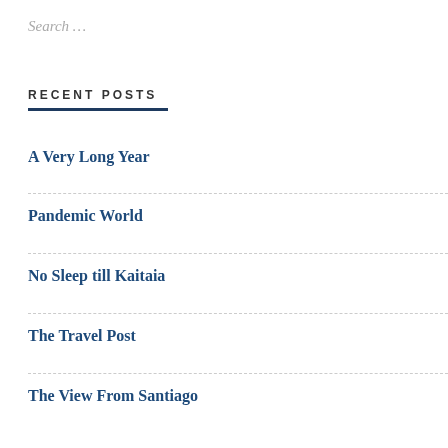Search …
RECENT POSTS
A Very Long Year
Pandemic World
No Sleep till Kaitaia
The Travel Post
The View From Santiago